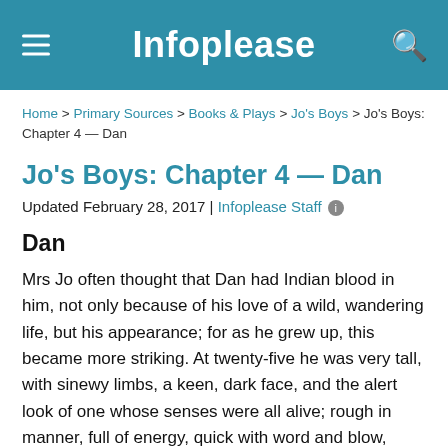Infoplease
Home > Primary Sources > Books & Plays > Jo's Boys > Jo's Boys: Chapter 4 — Dan
Jo's Boys: Chapter 4 — Dan
Updated February 28, 2017 | Infoplease Staff
Dan
Mrs Jo often thought that Dan had Indian blood in him, not only because of his love of a wild, wandering life, but his appearance; for as he grew up, this became more striking. At twenty-five he was very tall, with sinewy limbs, a keen, dark face, and the alert look of one whose senses were all alive; rough in manner, full of energy, quick with word and blow, eyes full of the old fire, always watchful as if used to keep guard, and a general air of vigour and freshness very charming to those who knew the dangers and delights of